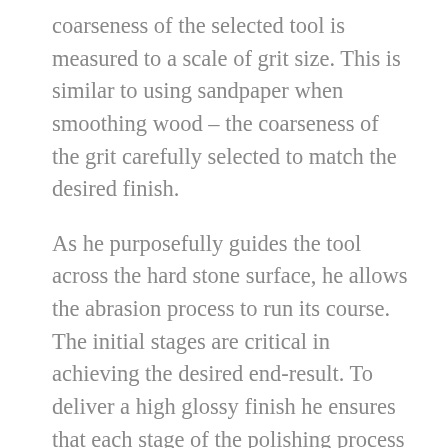coarseness of the selected tool is measured to a scale of grit size. This is similar to using sandpaper when smoothing wood – the coarseness of the grit carefully selected to match the desired finish.
As he purposefully guides the tool across the hard stone surface, he allows the abrasion process to run its course. The initial stages are critical in achieving the desired end-result. To deliver a high glossy finish he ensures that each stage of the polishing process is given the time and effort needed to remove the scuff and scratch marks, a process that cannot be rushed. At the end of each stage, he changes to a smoother grit, using the finer abrasive particles – and consequently the smoother the stone